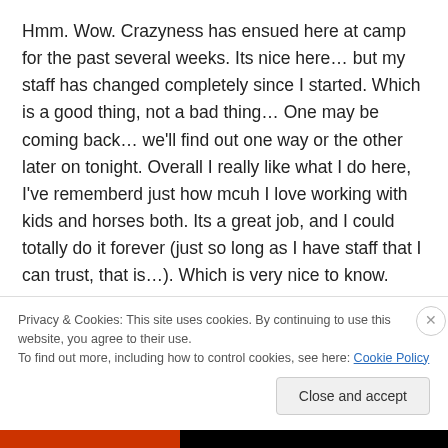Hmm. Wow. Crazyness has ensued here at camp for the past several weeks. Its nice here… but my staff has changed completely since I started. Which is a good thing, not a bad thing… One may be coming back… we'll find out one way or the other later on tonight. Overall I really like what I do here, I've rememberd just how mcuh I love working with kids and horses both. Its a great job, and I could totally do it forever (just so long as I have staff that I can trust, that is…). Which is very nice to know.
Privacy & Cookies: This site uses cookies. By continuing to use this website, you agree to their use. To find out more, including how to control cookies, see here: Cookie Policy
Close and accept